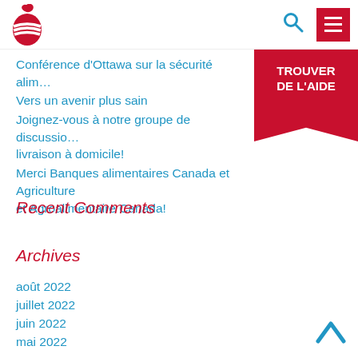Logo, search icon, hamburger menu
Conférence d'Ottawa sur la sécurité alim…
Vers un avenir plus sain
Joignez-vous à notre groupe de discussion… livraison à domicile!
Merci Banques alimentaires Canada et Agriculture et Agroalimentaire Canada!
[Figure (other): Red ribbon button with text TROUVER DE L'AIDE]
Recent Comments
Archives
août 2022
juillet 2022
juin 2022
mai 2022